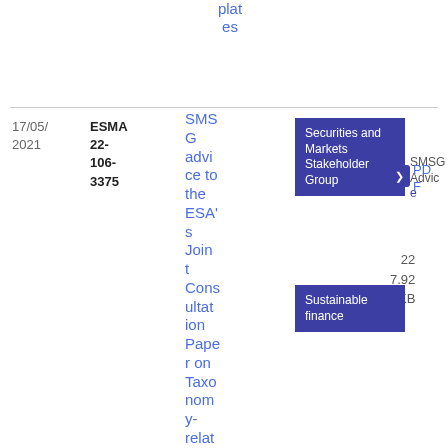plates
17/05/
2021
ESMA
22-
106-
3375
SMSG advice to the ESA's Joint Consultation Paper on Taxonomy-related
Securities and Markets Stakeholder Group
SMSG Advice
PDF
22
7.92 KB
Sustainable finance